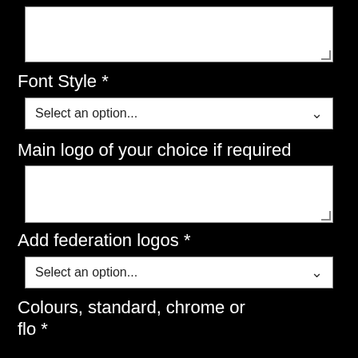[Figure (screenshot): A textarea input field (white box) at the top of the page]
Font Style *
[Figure (screenshot): A dropdown select field with placeholder 'Select an option...' and a chevron arrow]
Main logo of your choice if required
[Figure (screenshot): A textarea input field (white box) for logo upload]
Add federation logos *
[Figure (screenshot): A dropdown select field with placeholder 'Select an option...' and a chevron arrow]
Colours, standard, chrome or flo *